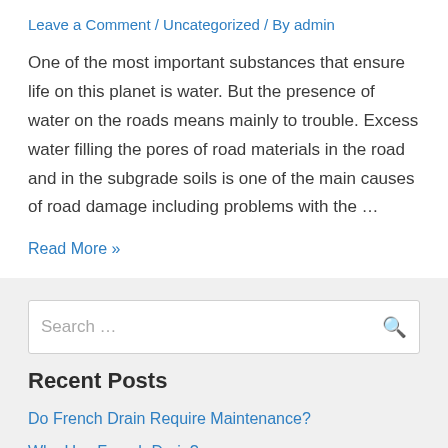Leave a Comment / Uncategorized / By admin
One of the most important substances that ensure life on this planet is water. But the presence of water on the roads means mainly to trouble. Excess water filling the pores of road materials in the road and in the subgrade soils is one of the main causes of road damage including problems with the …
Read More »
Search …
Recent Posts
Do French Drain Require Maintenance?
Why Use French Drain?